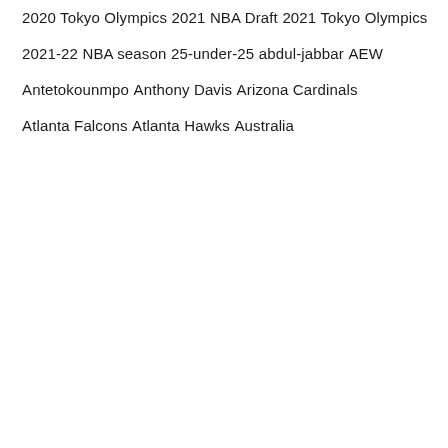2020 Tokyo Olympics
2021 NBA Draft
2021 Tokyo Olympics
2021-22 NBA season
25-under-25
abdul-jabbar
AEW
Antetokounmpo
Anthony Davis
Arizona Cardinals
Atlanta Falcons
Atlanta Hawks
Australia